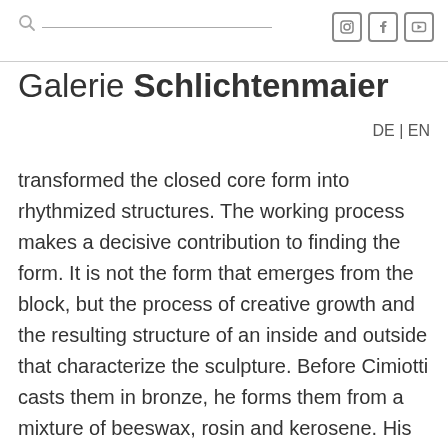Galerie Schlichtenmaier [search bar, social icons: Instagram, Facebook, YouTube]
Galerie Schlichtenmaier
DE | EN
transformed the closed core form into rhythmized structures. The working process makes a decisive contribution to finding the form. It is not the form that emerges from the block, but the process of creative growth and the resulting structure of an inside and outside that characterize the sculpture. Before Cimiotti casts them in bronze, he forms them from a mixture of beeswax, rosin and kerosene. His sculptures grow organically upwards and form ding-like motifs such as